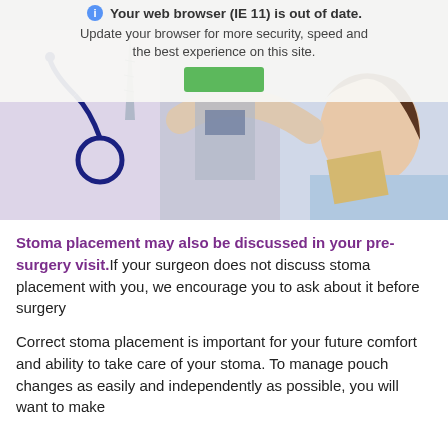[Figure (photo): Doctor with stethoscope leaning toward a smiling female patient lying in a hospital bed, overlaid with a browser update warning banner and a green update button]
Stoma placement may also be discussed in your pre-surgery visit. If your surgeon does not discuss stoma placement with you, we encourage you to ask about it before surgery
Correct stoma placement is important for your future comfort and ability to take care of your stoma. To manage pouch changes as easily and independently as possible, you will want to make